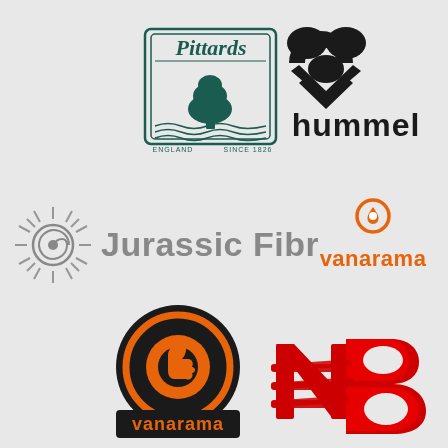[Figure (logo): Pittards logo - shield with tree, England Since 1826]
[Figure (logo): Hummel logo - bee/chevron symbol with hummel text]
[Figure (logo): Jurassic Fibre logo - spiral sun icon with Jurassic Fibre text in gray]
[Figure (logo): Vanarama logo - orange flame/circle icon with vanarama text in orange]
[Figure (logo): Vanarama circular badge logo - black circle with orange thumbs up flame inside, vanarama text on black bar]
[Figure (logo): New Balance NB logo in red]